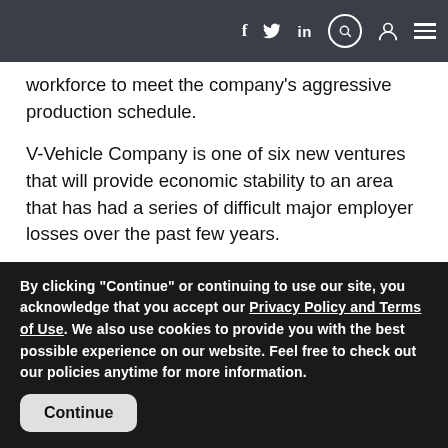Navigation bar with social icons (f, Twitter, in, search, user, menu)
workforce to meet the company's aggressive production schedule.
V-Vehicle Company is one of six new ventures that will provide economic stability to an area that has had a series of difficult major employer losses over the past few years.
Explaining that the V-Vehicle project is not the typical economic investment project for Louisiana, Governor Bobby Jindal said, “Every once in a while, we are presented with an opportunity to throw long… to move the
By clicking "Continue" or continuing to use our site, you acknowledge that you accept our Privacy Policy and Terms of Use. We also use cookies to provide you with the best possible experience on our website. Feel free to check out our policies anytime for more information.
Continue